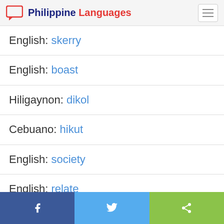Philippine Languages
English: skerry
English: boast
Hiligaynon: dikol
Cebuano: hikut
English: society
English: relate
English: april